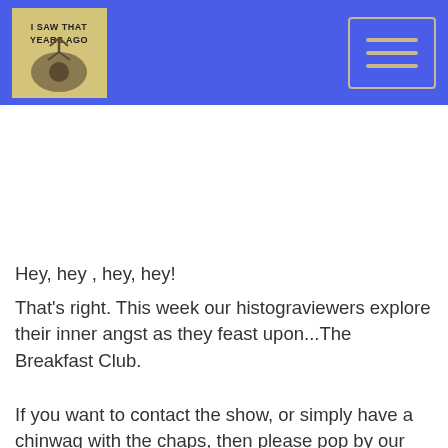[Figure (logo): Website logo with text 'I SAW THAT YEARS AGO' with a small illustration, displayed on blue header bar]
[Figure (other): Hamburger menu button (three horizontal lines) inside a rounded rectangle border, displayed on blue header bar]
Hey, hey , hey, hey!
That's right. This week our histograviewers explore their inner angst as they feast upon...The Breakfast Club.
If you want to contact the show, or simply have a chinwag with the chaps, then please pop by our Facebook page -